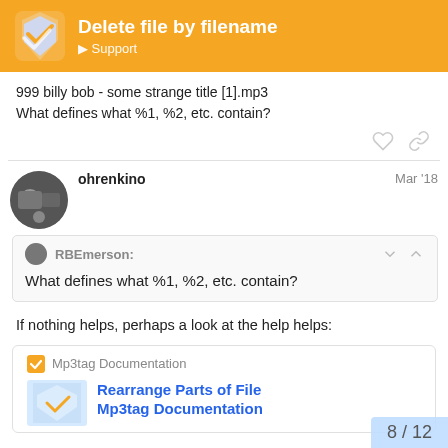Delete file by filename — Support
999 billy bob - some strange title [1].mp3
What defines what %1, %2, etc. contain?
ohrenkino  Mar '18
RBEmerson:
What defines what %1, %2, etc. contain?
If nothing helps, perhaps a look at the help helps:
Mp3tag Documentation
Rearrange Parts of File
Mp3tag Documentation
8 / 12